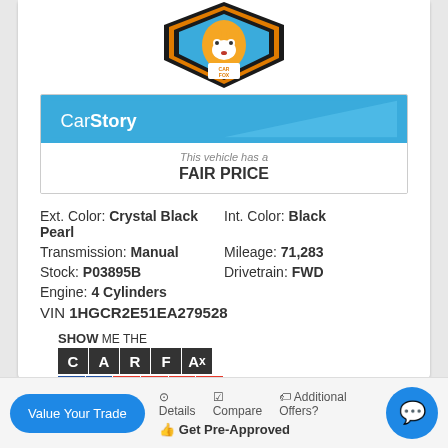[Figure (logo): CARFAX fox mascot logo with orange and black shield shape, blue background]
[Figure (infographic): CarStory banner showing 'This vehicle has a FAIR PRICE']
Ext. Color: Crystal Black Pearl
Int. Color: Black
Transmission: Manual
Mileage: 71,283
Stock: P03895B
Drivetrain: FWD
Engine: 4 Cylinders
VIN 1HGCR2E51EA279528
[Figure (logo): SHOW ME THE CARFAX 1 OWNER badge with colored boxes]
[Figure (infographic): Row of icons: green checkmark, blue circle with 1, red house, grey wrench]
Details  Compare  Additional Offers?
Value Your Trade
Get Pre-Approved